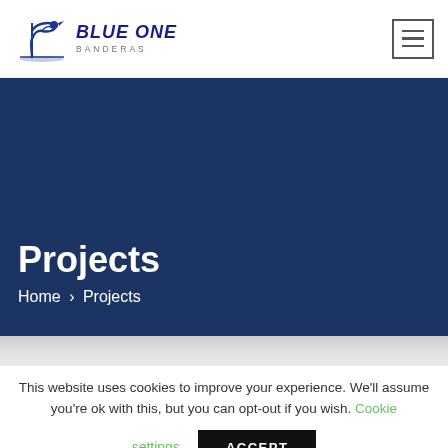[Figure (logo): Blue One Banderas logo with bird/flag icon and italic blue text]
Projects
Home > Projects
This website uses cookies to improve your experience. We'll assume you're ok with this, but you can opt-out if you wish. Cookie settings ACCEPT